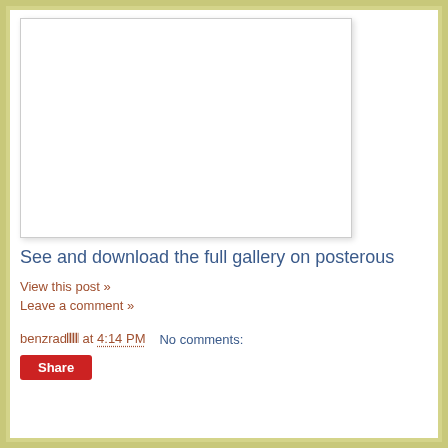[Figure (other): White blank image placeholder with light border and drop shadow]
See and download the full gallery on posterous
View this post »
Leave a comment »
benzrad𝄃𝄃𝄃𝄃 at 4:14 PM   No comments:
Share